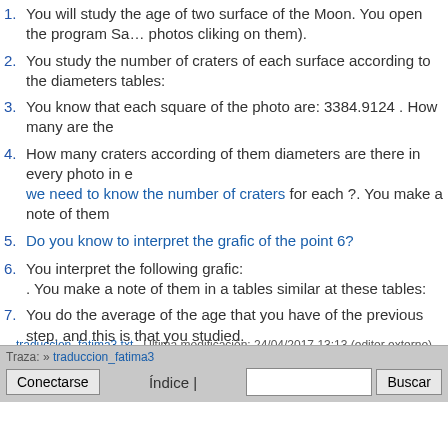1. You will study the age of two surface of the Moon. You open the program Sa… photos cliking on them).
2. You study the number of craters of each surface according to the diameters tables:
3. You know that each square of the photo are: 3384.9124 . How many are the
4. How many craters according of them diameters are there in every photo in e… we need to know the number of craters for each ?. You make a note of them
5. Do you know to interpret the grafic of the point 6?
6. You interpret the following grafic: . You make a note of them in a tables similar at these tables:
7. You do the average of the age that you have of the previous step, and this is that you studied.
8. You check your results.
traduccion_fatima3.txt · Última modificación: 24/04/2017 13:13 (editor externo)
Traza: » traduccion_fatima3 | Conectarse | Índice | Buscar